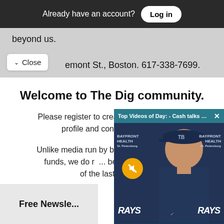Already have an account? Log in
beyond us.
emont St., Boston. 617-338-7699.
Welcome to The Dig community.
Please register to create your secure user profile and continue reading.
Unlike media run by billionaires and hedge funds, we do r... believe in access... of the last free n...
[Figure (screenshot): Video popup overlay: 'Top Videos of Day: - Cash talks Springs,...' with an X close button, showing a baseball manager or coach at a press conference with Tampa Bay Rays branding and Bayfront Health sponsor logos. A yellow mute button is visible.]
Free Newsle...